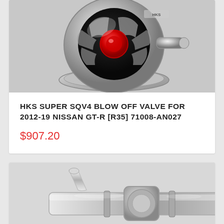[Figure (photo): HKS Super SQV4 blow off valve product photo — polished silver/chrome circular valve with vented housing and red center element]
HKS SUPER SQV4 BLOW OFF VALVE FOR 2012-19 NISSAN GT-R [R35] 71008-AN027
$907.20
[Figure (photo): Chrome/polished exhaust or blow-off valve component, partially visible, showing pipe and valve body]